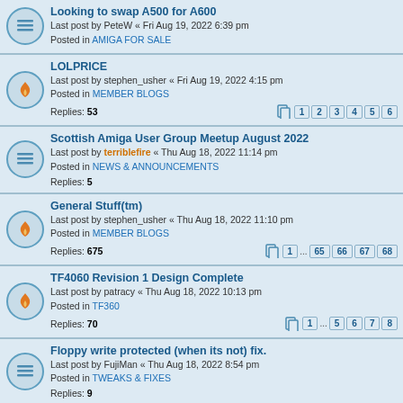Looking to swap A500 for A600
Last post by PeteW « Fri Aug 19, 2022 6:39 pm
Posted in AMIGA FOR SALE
LOLPRICE
Last post by stephen_usher « Fri Aug 19, 2022 4:15 pm
Posted in MEMBER BLOGS
Replies: 53
Scottish Amiga User Group Meetup August 2022
Last post by terriblefire « Thu Aug 18, 2022 11:14 pm
Posted in NEWS & ANNOUNCEMENTS
Replies: 5
General Stuff(tm)
Last post by stephen_usher « Thu Aug 18, 2022 11:10 pm
Posted in MEMBER BLOGS
Replies: 675
TF4060 Revision 1 Design Complete
Last post by patracy « Thu Aug 18, 2022 10:13 pm
Posted in TF360
Replies: 70
Floppy write protected (when its not) fix.
Last post by FujiMan « Thu Aug 18, 2022 8:54 pm
Posted in TWEAKS & FIXES
Replies: 9
NetUSBee mouse crashes game intro
Last post by digitalman « Thu Aug 18, 2022 8:19 pm
Posted in HARDWARE ISSUES
Replies: 6